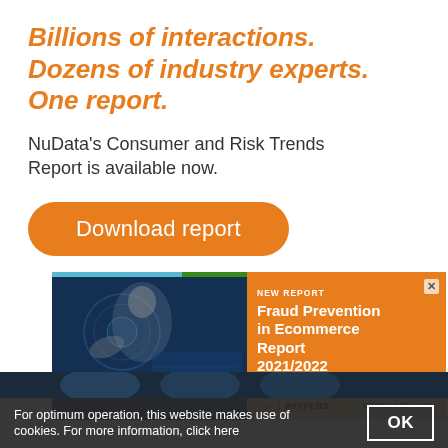Billions of interactions. Dozens of industry experts. One report.
NuData's Consumer and Risk Trends Report is available now.
Download report
[Figure (infographic): Advertisement for 'Fraud Prevention in Ecommerce Report 2021/2022' by The Paypers. Left side shows a woman touching a digital screen. Right side has orange background with 'NEW REPORT' label and report title. Bottom has a 'DOWNLOAD NOW' button.]
For optimum operation, this website makes use of cookies. For more information, click here
OK